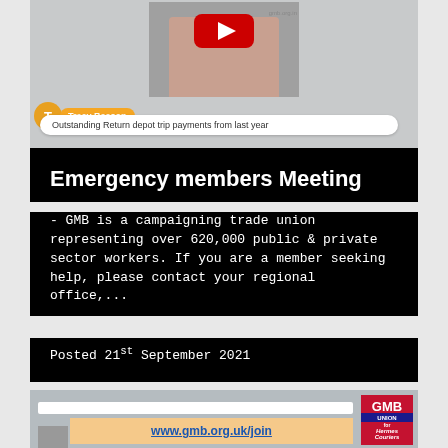[Figure (screenshot): Screenshot of a video call with a YouTube play button overlay and a chat message from Tracy Beeson saying 'Outstanding Return depot trip payments from last year']
Emergency members Meeting
- GMB is a campaigning trade union representing over 620,000 public & private sector workers. If you are a member seeking help, please contact your regional office,...
Posted 21st September 2021
[Figure (screenshot): Screenshot of a web browser showing www.gmb.org.uk/join with a GMB Union for Hermes Couriers logo in the top right]